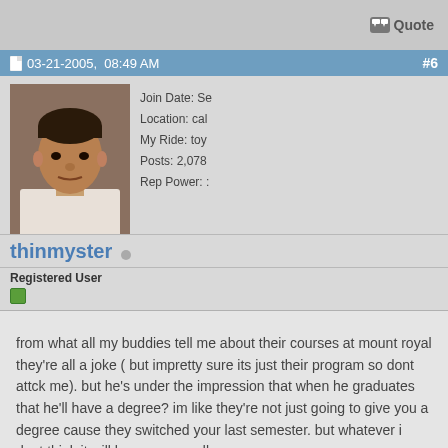Quote
03-21-2005,  08:49 AM  #6
[Figure (photo): Profile photo of a man (mug shot style photo)]
Join Date: Se
Location: cal
My Ride: toy
Posts: 2,078
Rep Power: :
thinmyster
Registered User
from what all my buddies tell me about their courses at mount royal they're all a joke ( but impretty sure its just their program so dont attck me). but he's under the impression that when he graduates that he'll have a degree? im like they're not just going to give you a degree cause they switched your last semester. but whatever i dont think it will happen regardless
Quote